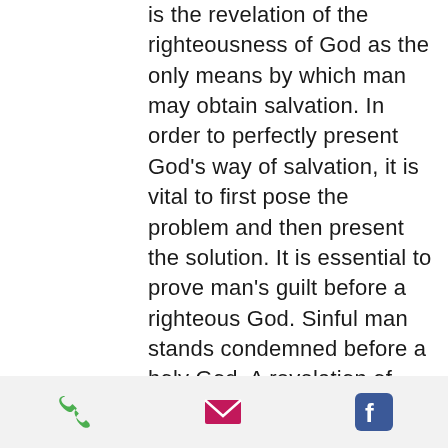is the revelation of the righteousness of God as the only means by which man may obtain salvation. In order to perfectly present God's way of salvation, it is vital to first pose the problem and then present the solution. It is essential to prove man's guilt before a righteous God. Sinful man stands condemned before a holy God. A revelation of God's righteousness must be simultaneously attended by a revelation of God's wrath against every ungodliness and unrighteousness of sinful man. The rebellious sinner must be put on
[Figure (infographic): Footer bar with three icons: green phone icon, magenta/pink email envelope icon, blue Facebook icon]